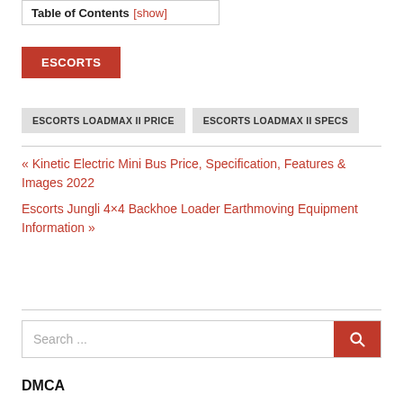Table of Contents [show]
ESCORTS
ESCORTS LOADMAX II PRICE
ESCORTS LOADMAX II SPECS
« Kinetic Electric Mini Bus Price, Specification, Features & Images 2022
Escorts Jungli 4×4 Backhoe Loader Earthmoving Equipment Information »
Search ...
DMCA